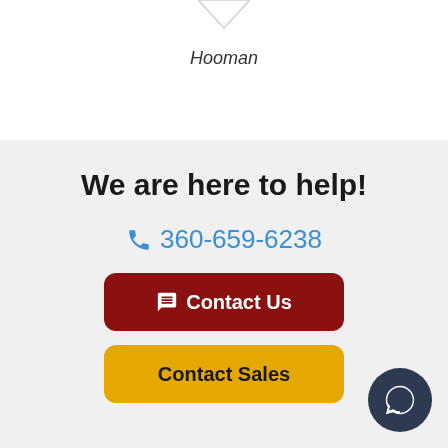Hooman
We are here to help!
360-659-6238
Contact Us
Contact Sales